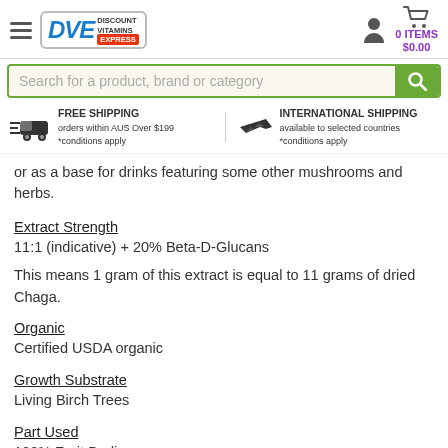DVE Discount Vitamins Express — 0 ITEMS $0.00
Search for a product, brand or category
FREE SHIPPING orders within AUS Over $199 *conditions apply | INTERNATIONAL SHIPPING available to selected countries *conditions apply
or as a base for drinks featuring some other mushrooms and herbs.
Extract Strength
11:1 (indicative) + 20% Beta-D-Glucans
This means 1 gram of this extract is equal to 11 grams of dried Chaga.
Organic
Certified USDA organic
Growth Substrate
Living Birch Trees
Part Used
100% Fruit Bodies.